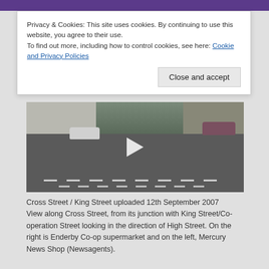Privacy & Cookies: This site uses cookies. By continuing to use this website, you agree to their use.
To find out more, including how to control cookies, see here: Cookie and Privacy Policies
[Figure (screenshot): Video thumbnail showing a street scene at Cross Street / King Street junction, with a play button overlay. Road markings visible, buildings on left and right, cars in the scene.]
Cross Street / King Street uploaded 12th September 2007 View along Cross Street, from its junction with King Street/Co-operation Street looking in the direction of High Street. On the right is Enderby Co-op supermarket and on the left, Mercury News Shop (Newsagents).